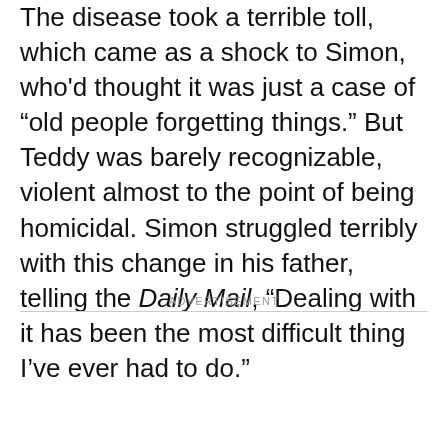The disease took a terrible toll, which came as a shock to Simon, who'd thought it was just a case of “old people forgetting things.” But Teddy was barely recognizable, violent almost to the point of being homicidal. Simon struggled terribly with this change in his father, telling the Daily Mail, “Dealing with it has been the most difficult thing I’ve ever had to do.”
ADVERTISEMENT